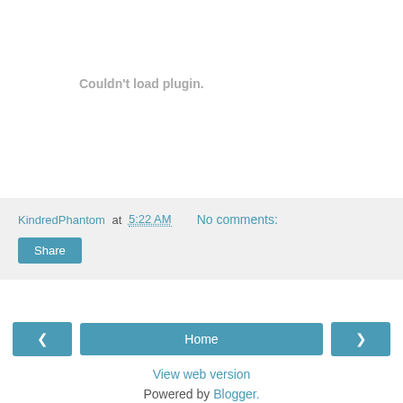Couldn't load plugin.
KindredPhantom at 5:22 AM   No comments:
Share
Home
View web version
Powered by Blogger.